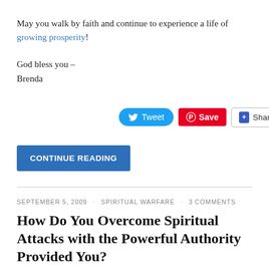May you walk by faith and continue to experience a life of growing prosperity!
God bless you –
Brenda
[Figure (infographic): Social sharing buttons: Tweet (blue rounded), Save (red Pinterest), Share/Save (white with dropdown arrow)]
CONTINUE READING
SEPTEMBER 5, 2009 · SPIRITUAL WARFARE · 3 COMMENTS
How Do You Overcome Spiritual Attacks with the Powerful Authority Provided You?